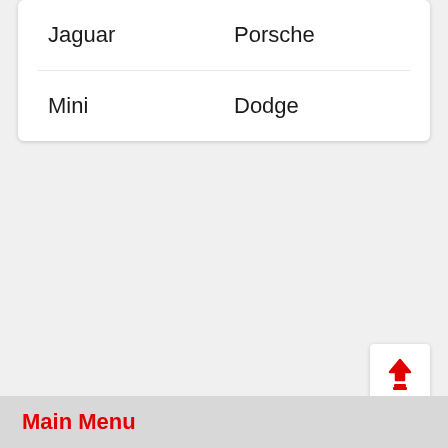| Jaguar | Porsche |
| Mini | Dodge |
[Figure (other): Upload/share button icon (red upward arrow with a tray base)]
Main Menu